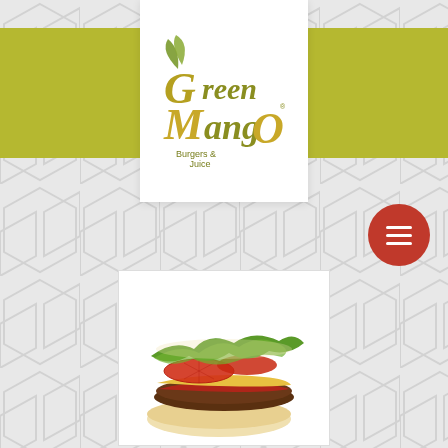[Figure (logo): Green Mango Burgers & Juice logo in olive/gold lettering with leaf accents on white background]
[Figure (photo): A cheese and bacon burger with lettuce, tomato and melted cheese on a white bun, photographed from the side]
Le Cheese & Bacon